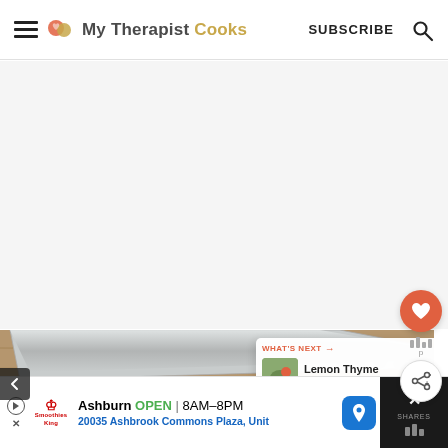My Therapist Cooks — SUBSCRIBE
[Figure (screenshot): Large white/light gray advertisement space placeholder]
[Figure (photo): Knife blade and chopped white vegetable pieces on wooden cutting board]
WHAT'S NEXT → Lemon Thyme Shrimp Cae...
[Figure (infographic): Bottom advertisement banner: Smoothie King, Ashburn OPEN 8AM-8PM, 20035 Ashbrook Commons Plaza, Unit]
Ashburn OPEN | 8AM–8PM 20035 Ashbrook Commons Plaza, Unit